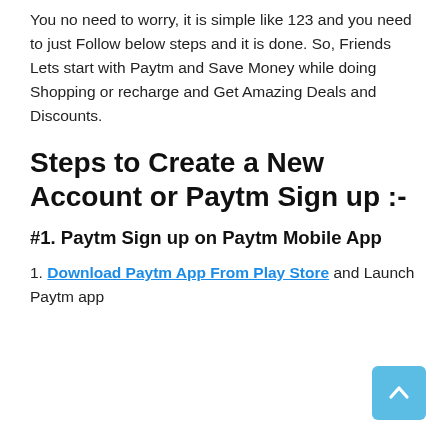You no need to worry, it is simple like 123 and you need to just Follow below steps and it is done. So, Friends Lets start with Paytm and Save Money while doing Shopping or recharge and Get Amazing Deals and Discounts.
Steps to Create a New Account or Paytm Sign up :-
#1. Paytm Sign up on Paytm Mobile App
1. Download Paytm App From Play Store and Launch Paytm app